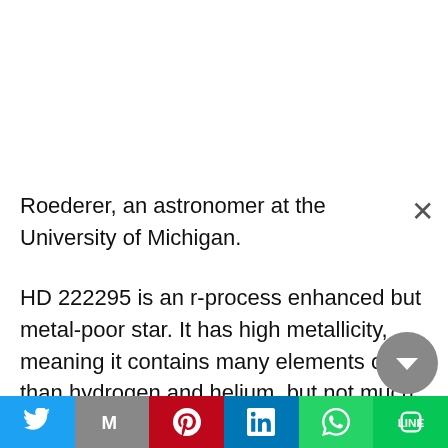Roederer, an astronomer at the University of Michigan.
HD 222295 is an r-process enhanced but metal-poor star. It has high metallicity, meaning it contains many elements other than hydrogen and helium, but not much of those elements by mass. It's not the first one discovered. That distinction belongs to CS 22892–052, also known as Sneden's star, after the scientist who first identified 53 chemical elements in it. But HD 222295 is much